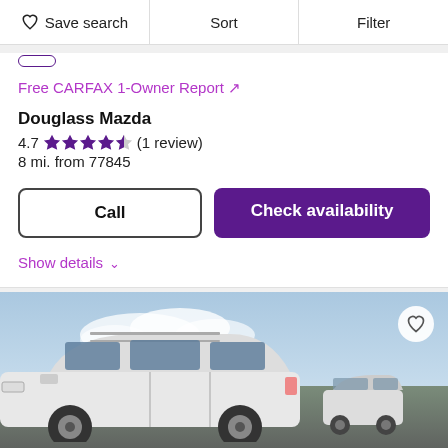Save search | Sort | Filter
Free CARFAX 1-Owner Report ↗
Douglass Mazda
4.7 ★★★★½ (1 review)
8 mi. from 77845
Call
Check availability
Show details ∨
[Figure (photo): White SUV parked in a car dealership lot with other vehicles visible in the background under a partly cloudy sky]